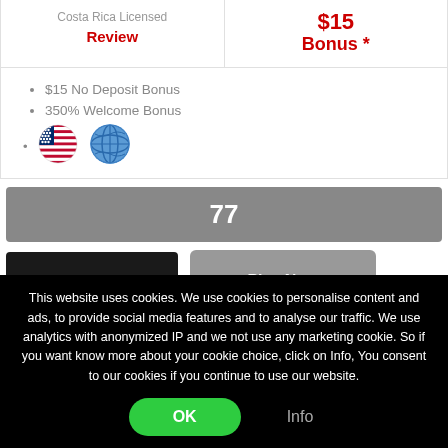Costa Rica Licensed
Review
$15
Bonus *
$15 No Deposit Bonus
350% Welcome Bonus
[Figure (illustration): US flag and globe emoji icons]
77
[Figure (logo): Park Lane casino logo on dark background]
Play Now
This website uses cookies. We use cookies to personalise content and ads, to provide social media features and to analyse our traffic. We use analytics with anonymized IP and we not use any marketing cookie. So if you want know more about your cookie choice, click on Info, You consent to our cookies if you continue to use our website.
OK
Info